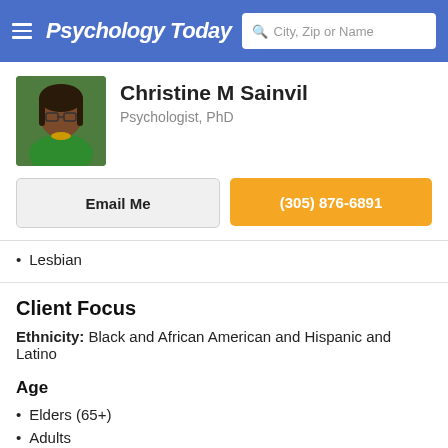Psychology Today — City, Zip or Name search
Christine M Sainvil
Psychologist, PhD
Email Me
(305) 876-6891
Lesbian
Client Focus
Ethnicity: Black and African American and Hispanic and Latino
Age
Elders (65+)
Adults
Communities